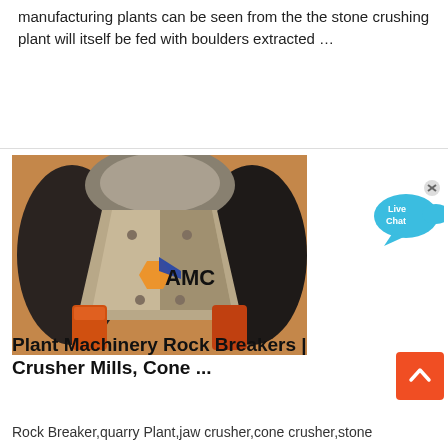manufacturing plants can be seen from the the stone crushing plant will itself be fed with boulders extracted …
Contact us
[Figure (photo): Close-up photo of a metal cone crusher component with AMC logo watermark]
[Figure (infographic): Live Chat button with blue speech bubble icon and close (x) button]
Plant Machinery Rock Breakers | Crusher Mills, Cone ...
Rock Breaker,quarry Plant,jaw crusher,cone crusher,stone